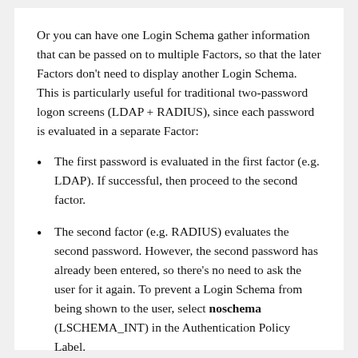Or you can have one Login Schema gather information that can be passed on to multiple Factors, so that the later Factors don't need to display another Login Schema. This is particularly useful for traditional two-password logon screens (LDAP + RADIUS), since each password is evaluated in a separate Factor:
The first password is evaluated in the first factor (e.g. LDAP). If successful, then proceed to the second factor.
The second factor (e.g. RADIUS) evaluates the second password. However, the second password has already been entered, so there's no need to ask the user for it again. To prevent a Login Schema from being shown to the user, select noschema (LSCHEMA_INT) in the Authentication Policy Label.